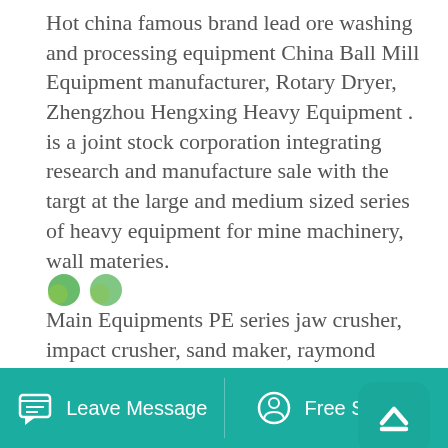Hot china famous brand lead ore washing and processing equipment China Ball Mill Equipment manufacturer, Rotary Dryer, Zhengzhou Hengxing Heavy Equipment . is a joint stock corporation integrating research and manufacture sale with the targt at the large and medium sized series of heavy equipment for mine machinery, wall materies.
Main Equipments PE series jaw crusher, impact crusher, sand maker, raymond grinding mill, vibrating screen and vibrating feeder. 200-350T H Sand Production Line In Turkey. The 200-350t h sand production line in Turkey is designed in August, 2014, and put into use in October. . china s crusher top brand provider.
[Figure (other): Partial image of logos/icons at the bottom of the content area, partially cropped]
Leave Message   Free Service